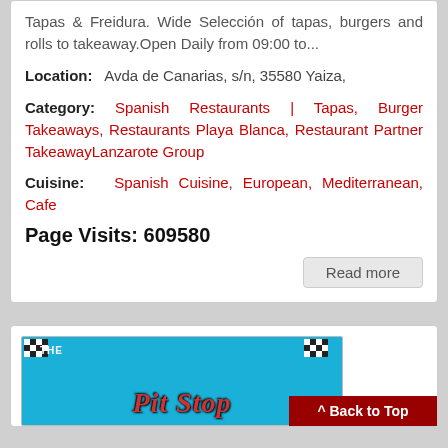Tapas & Freidura. Wide Selección of tapas, burgers and rolls to takeaway.Open Daily from 09:00 to...
Location: Avda de Canarias, s/n, 35580 Yaiza,
Category: Spanish Restaurants | Tapas, Burger Takeaways, Restaurants Playa Blanca, Restaurant Partner TakeawayLanzarote Group
Cuisine: Spanish Cuisine, European, Mediterranean, Cafe
Page Visits: 609580
Read more
[Figure (photo): The Pit Stop restaurant logo/signage photo with blue background and red stylized text 'The Pit Stop' with checkered flag decorations]